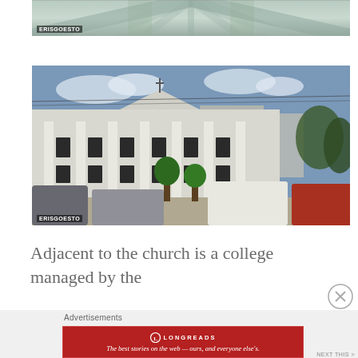[Figure (photo): Partial view of ornate building ceiling or facade detail, cropped at top with watermark ERISGOESTO]
[Figure (photo): Street-level photo of a large white neoclassical building identified as a college adjacent to a church, with cars parked in front, watermark ERISGOESTO]
Adjacent to the church is a college managed by the
Advertisements
[Figure (infographic): Longreads advertisement banner: 'The best stories on the web — ours, and everyone else's.']